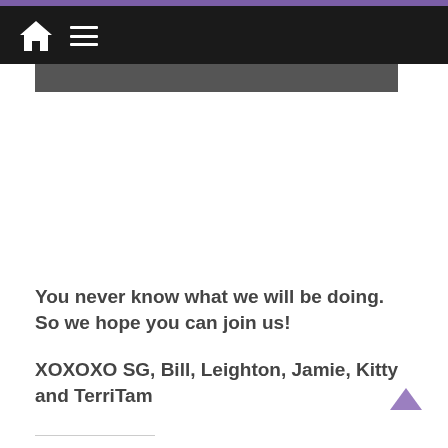Navigation bar with home icon and menu icon
You never know what we will be doing. So we hope you can join us!
XOXOXO SG, Bill, Leighton, Jamie, Kitty and TerriTam